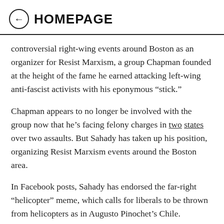← HOMEPAGE
controversial right-wing events around Boston as an organizer for Resist Marxism, a group Chapman founded at the height of the fame he earned attacking left-wing anti-fascist activists with his eponymous “stick.”
Chapman appears to no longer be involved with the group now that he’s facing felony charges in two states over two assaults. But Sahady has taken up his position, organizing Resist Marxism events around the Boston area.
In Facebook posts, Sahady has endorsed the far-right “helicopter” meme, which calls for liberals to be thrown from helicopters as in Augusto Pinochet’s Chile.
“We may get to throw anti-American communists from helicopters sooner than we thought,” Sahady wrote in one